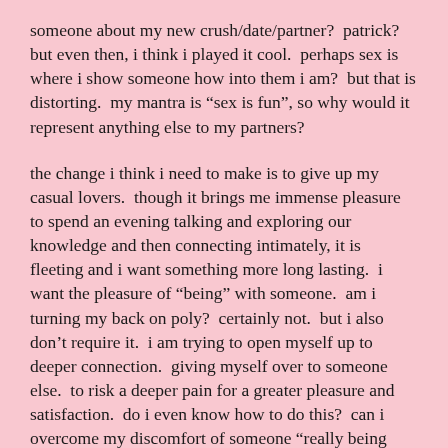someone about my new crush/date/partner?  patrick?  but even then, i think i played it cool.  perhaps sex is where i show someone how into them i am?  but that is distorting.  my mantra is “sex is fun”, so why would it represent anything else to my partners?
the change i think i need to make is to give up my casual lovers.  though it brings me immense pleasure to spend an evening talking and exploring our knowledge and then connecting intimately, it is fleeting and i want something more long lasting.  i want the pleasure of “being” with someone.  am i turning my back on poly?  certainly not.  but i also don’t require it.  i am trying to open myself up to deeper connection.  giving myself over to someone else.  to risk a deeper pain for a greater pleasure and satisfaction.  do i even know how to do this?  can i overcome my discomfort of someone “really being into me” and trusting a possibility?